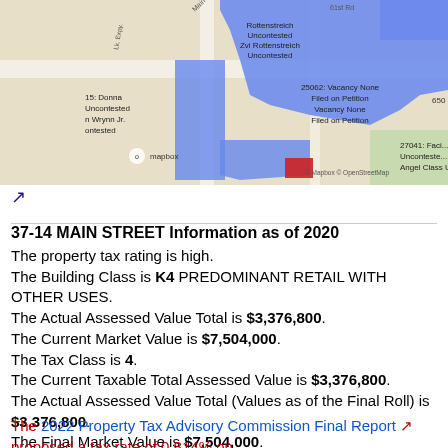[Figure (map): Street map showing property parcels highlighted in blue and red around 61st Rd and Main Street area, with Mapbox and OpenStreetMap attribution. Labels include: Rottenstreich Uncontested, Zvi Rottenstreich Uncontested, 15: Donna Uncontested, n Wrynn Jr. ontested, 25062: Vacancy None Filed on Petition Vacancy None Filed on Petition, 27041: Faci... Uncontested Angel Class Un...]
37-14 MAIN STREET Information as of 2020
The property tax rating is high.
The Building Class is K4 PREDOMINANT RETAIL WITH OTHER USES.
The Actual Assessed Value Total is $3,376,800.
The Current Market Value is $7,504,000.
The Tax Class is 4.
The Current Taxable Total Assessed Value is $3,376,800.
The Actual Assessed Value Total (Values as of the Final Roll) is $3,376,800.
The Final Market Value is $7,504,000.
The 2022 Property Tax Advisory Commission Final Report proposed a tax rate of 0.814% on